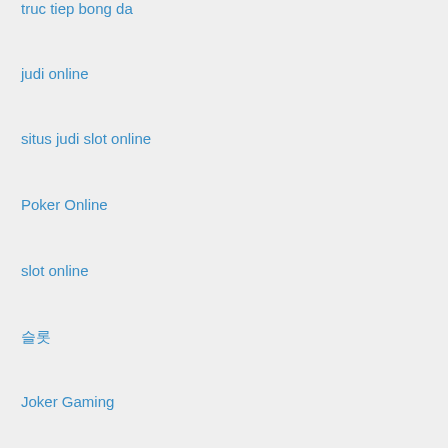truc tiep bong da
judi online
situs judi slot online
Poker Online
slot online
슬롯
Joker Gaming